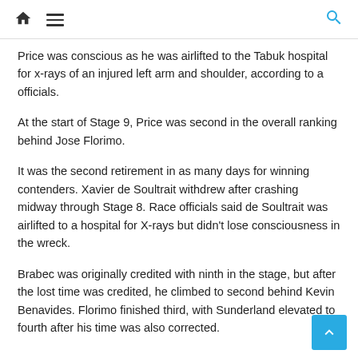Home | Menu | Search
Price was conscious as he was airlifted to the Tabuk hospital for x-rays of an injured left arm and shoulder, according to a officials.
At the start of Stage 9, Price was second in the overall ranking behind Jose Florimo.
It was the second retirement in as many days for winning contenders. Xavier de Soultrait withdrew after crashing midway through Stage 8. Race officials said de Soultrait was airlifted to a hospital for X-rays but didn't lose consciousness in the wreck.
Brabec was originally credited with ninth in the stage, but after the lost time was credited, he climbed to second behind Kevin Benavides. Florimo finished third, with Sunderland elevated to fourth after his time was also corrected.